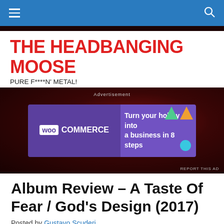THE HEADBANGING MOOSE
THE HEADBANGING MOOSE
PURE F****N' METAL!
[Figure (screenshot): WooCommerce advertisement banner: 'Turn your hobby into a business in 8 steps']
Album Review – A Taste Of Fear / God's Design (2017)
Posted by Gustavo Scuderi
An amazing display of dexterity, professionalism and devotion to Thrash and Death Metal by a promising Italian quartet, representing to perfection what the